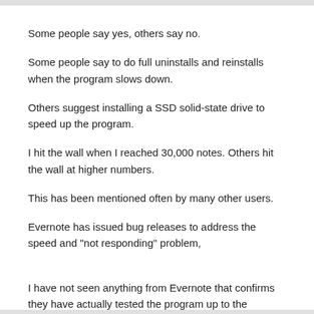Some people say yes, others say no.
Some people say to do full uninstalls and reinstalls when the program slows down.
Others suggest installing a SSD solid-state drive to speed up the program.
I hit the wall when I reached 30,000 notes. Others hit the wall at higher numbers.
This has been mentioned often by many other users.
Evernote has issued bug releases to address the speed and "not responding" problem,
I have not seen anything from Evernote that confirms they have actually tested the program up to the maximum 100,000 note level.